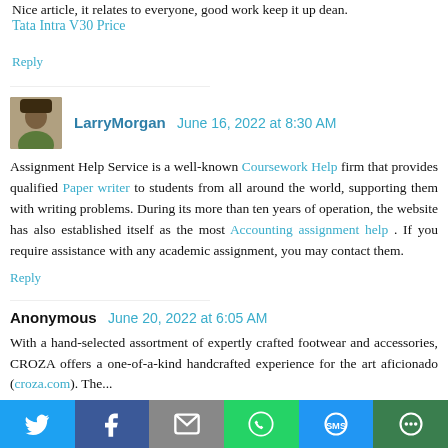Nice article, it relates to everyone, good work keep it up dean.
Tata Intra V30 Price
Reply
LarryMorgan  June 16, 2022 at 8:30 AM
Assignment Help Service is a well-known Coursework Help firm that provides qualified Paper writer to students from all around the world, supporting them with writing problems. During its more than ten years of operation, the website has also established itself as the most Accounting assignment help . If you require assistance with any academic assignment, you may contact them.
Reply
Anonymous  June 20, 2022 at 6:05 AM
With a hand-selected assortment of expertly crafted footwear and accessories, CROZA offers a one-of-a-kind handcrafted experience for the art aficionado (croza.com). The...